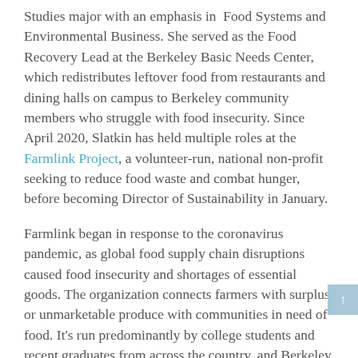Studies major with an emphasis in Food Systems and Environmental Business. She served as the Food Recovery Lead at the Berkeley Basic Needs Center, which redistributes leftover food from restaurants and dining halls on campus to Berkeley community members who struggle with food insecurity. Since April 2020, Slatkin has held multiple roles at the Farmlink Project, a volunteer-run, national non-profit seeking to reduce food waste and combat hunger, before becoming Director of Sustainability in January.
Farmlink began in response to the coronavirus pandemic, as global food supply chain disruptions caused food insecurity and shortages of essential goods. The organization connects farmers with surplus or unmarketable produce with communities in need of food. It's run predominantly by college students and recent graduates from across the country, and Berkeley students have been at the forefront of the initiative, with about 20 Berkeley students involved since the pandemic began.